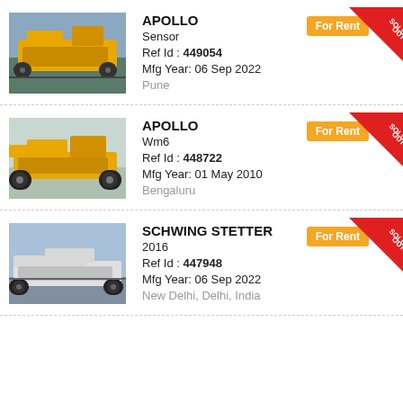[Figure (photo): Yellow construction paver machine, APOLLO brand, side view]
APOLLO
Sensor
Ref Id : 449054
Mfg Year: 06 Sep 2022
Pune
[Figure (photo): Yellow road paving machine, APOLLO brand, front-side view in outdoor setting]
APOLLO
Wm6
Ref Id : 448722
Mfg Year: 01 May 2010
Bengaluru
[Figure (photo): Road paver/slipform paver machine, SCHWING STETTER brand, on road surface]
SCHWING STETTER
2016
Ref Id : 447948
Mfg Year: 06 Sep 2022
New Delhi, Delhi, India